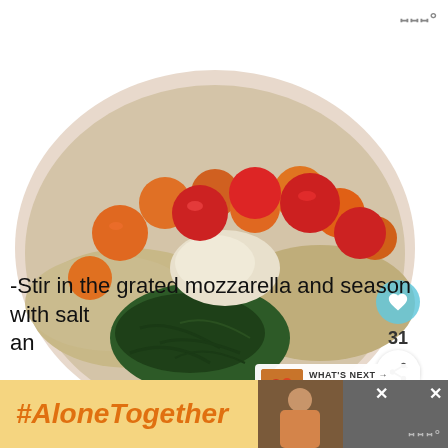...°
[Figure (photo): A white bowl containing a colorful grain salad with cherry tomatoes (red and orange), quinoa, shredded dark greens, and cauliflower, photographed from above.]
-Stir in the grated mozzarella and season with salt an...
[Figure (infographic): Ad banner: #AloneTogether in orange bold italic text on yellow background, with a photo of a woman and close buttons on the right side.]